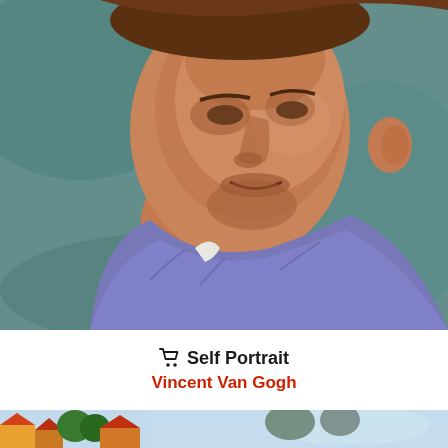[Figure (illustration): Close-up painting of a man's face and upper torso, painted in Post-Impressionist style. The subject faces slightly left, wearing a blue-purple jacket. The background is teal-green. Painted in the style of Vincent Van Gogh.]
🛒 Self Portrait
Vincent Van Gogh
[Figure (illustration): Partial cropped view of a landscape painting with colorful buildings, orange and red rooftops, green foliage, and a light blue snowy or wintry background. Painted in Post-Impressionist style.]